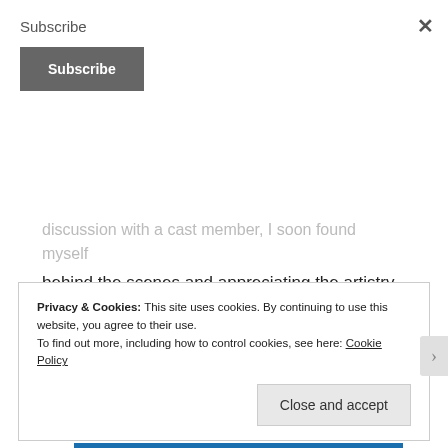Subscribe
Subscribe
discussion with a cast member, I soon found myself behind the scenes and appreciating the artistry of show far more than I could ever have imagined.
[Figure (illustration): Tumblr Ad-Free Browsing advertisement banner: $39.99 a year or $4.99 a month]
Privacy & Cookies: This site uses cookies. By continuing to use this website, you agree to their use.
To find out more, including how to control cookies, see here: Cookie Policy
Close and accept